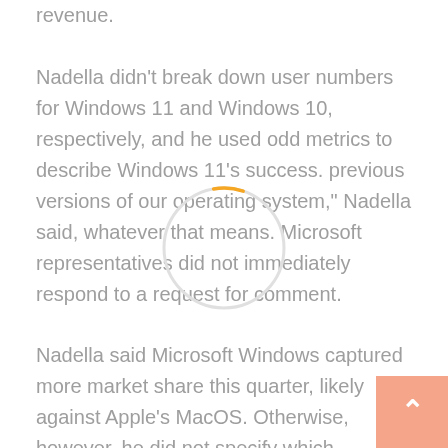revenue.
Nadella didn't break down user numbers for Windows 11 and Windows 10, respectively, and he used odd metrics to describe Windows 11's success. previous versions of our operating system," Nadella said, whatever that means. Microsoft representatives did not immediately respond to a request for comment.
Nadella said Microsoft Windows captured more market share this quarter, likely against Apple's MacOS. Otherwise, however, he did not specify which operating system he was referring to.
Microsoft's Surface device sales also benefited, rising 8% after two quarters of negative growth that compared poorly to strong sales at the start of pandemic-fueled 2020.